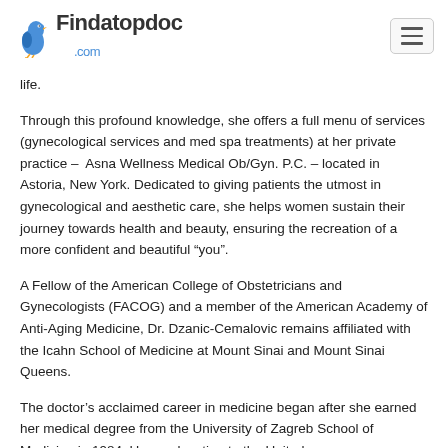Findatopdoc.com
life.
Through this profound knowledge, she offers a full menu of services (gynecological services and med spa treatments) at her private practice – Asna Wellness Medical Ob/Gyn. P.C. – located in Astoria, New York. Dedicated to giving patients the utmost in gynecological and aesthetic care, she helps women sustain their journey towards health and beauty, ensuring the recreation of a more confident and beautiful “you”.
A Fellow of the American College of Obstetricians and Gynecologists (FACOG) and a member of the American Academy of Anti-Aging Medicine, Dr. Dzanic-Cemalovic remains affiliated with the Icahn School of Medicine at Mount Sinai and Mount Sinai Queens.
The doctor’s acclaimed career in medicine began after she earned her medical degree from the University of Zagreb School of Medicine in 1984. Upon relocating to the United